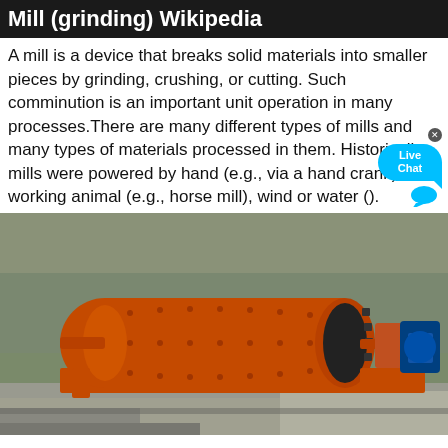Mill (grinding) Wikipedia
A mill is a device that breaks solid materials into smaller pieces by grinding, crushing, or cutting. Such comminution is an important unit operation in many processes.There are many different types of mills and many types of materials processed in them. Historically mills were powered by hand (e.g., via a hand crank), working animal (e.g., horse mill), wind or water ().
[Figure (photo): A large orange cylindrical ball mill with a black gear drive and blue electric motor, mounted on an orange steel frame, situated outdoors with a rocky hillside in the background.]